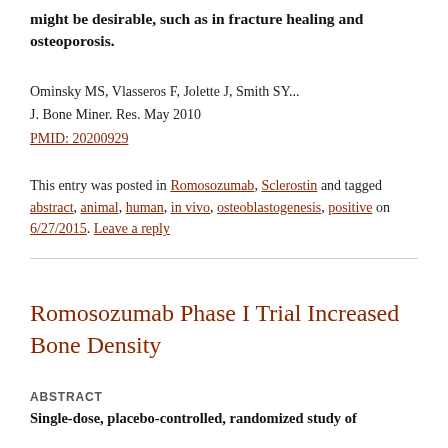might be desirable, such as in fracture healing and osteoporosis.
Ominsky MS, Vlasseros F, Jolette J, Smith SY...
J. Bone Miner. Res. May 2010
PMID: 20200929
This entry was posted in Romosozumab, Sclerostin and tagged abstract, animal, human, in vivo, osteoblastogenesis, positive on 6/27/2015. Leave a reply
Romosozumab Phase I Trial Increased Bone Density
ABSTRACT
Single-dose, placebo-controlled, randomized study of